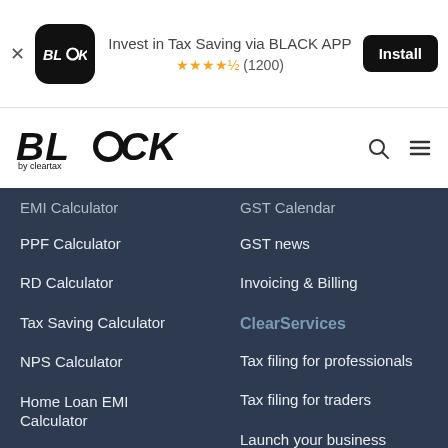[Figure (screenshot): App install banner for BLACK by ClearTax with close button, app icon, title 'Invest in Tax Saving via BLACK APP', star rating 4.5 (1200), and Install button]
[Figure (logo): BLACK by cleartax logo with search and hamburger menu icons]
EMI Calculator
PPF Calculator
RD Calculator
Tax Saving Calculator
NPS Calculator
Home Loan EMI Calculator
HSN Code Finder
IFSC Code Search
Gold Rates Today
Generic Topics
GST Calendar
GST news
Invoicing & Billing
ClearServices
Tax filing for professionals
Tax filing for traders
Launch your business
Services for businesses
Trademark Registration
Company Registration